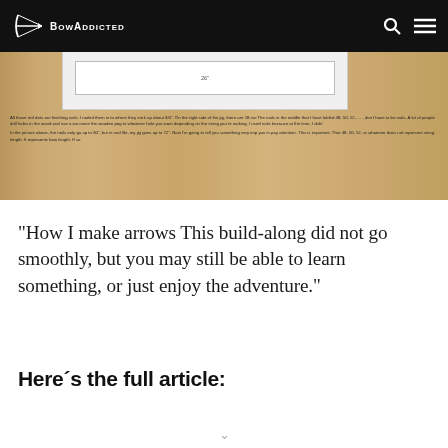BowAddicted
[Figure (screenshot): Screenshot of a document/webpage about a string-making jig, showing a white box with an inner rectangle labeled '26', and several lines of small text describing finishing nails and jig measurements up to 72 inches, on a tan/wood-grain background.]
“How I make arrows This build-along did not go smoothly, but you may still be able to learn something, or just enjoy the adventure.”
Here´s the full article: